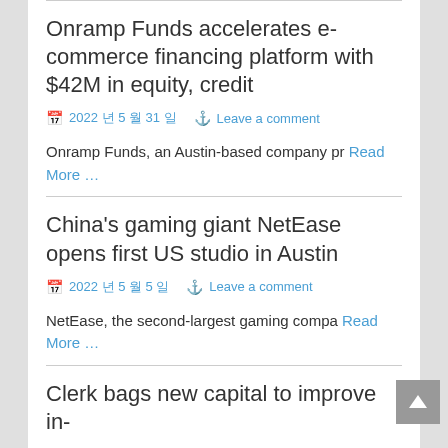Onramp Funds accelerates e-commerce financing platform with $42M in equity, credit
2022 년 5 월 31 일   Leave a comment
Onramp Funds, an Austin-based company pr Read More …
China's gaming giant NetEase opens first US studio in Austin
2022 년 5 월 5 일   Leave a comment
NetEase, the second-largest gaming compa Read More …
Clerk bags new capital to improve in-